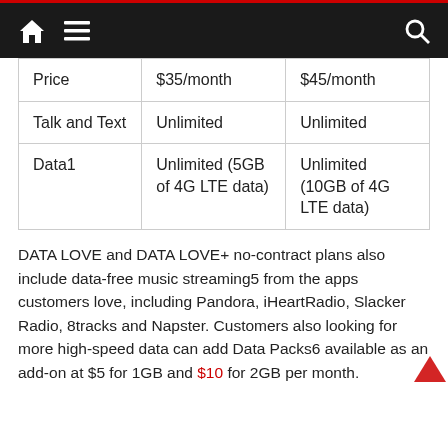Navigation bar with home, menu, and search icons
| Price | $35/month | $45/month |
| Talk and Text | Unlimited | Unlimited |
| Data1 | Unlimited (5GB of 4G LTE data) | Unlimited (10GB of 4G LTE data) |
DATA LOVE and DATA LOVE+ no-contract plans also include data-free music streaming5 from the apps customers love, including Pandora, iHeartRadio, Slacker Radio, 8tracks and Napster. Customers also looking for more high-speed data can add Data Packs6 available as an add-on at $5 for 1GB and $10 for 2GB per month.